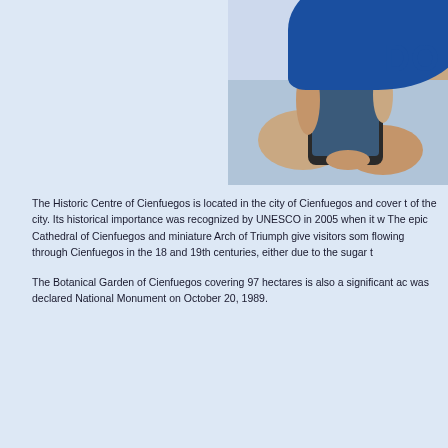[Figure (photo): Top-right corner: a dark blue speech bubble shape and a photo of hands holding a smartphone, with the letters 'DO' visible in bold blue text on a white/light background.]
The Historic Centre of Cienfuegos is located in the city of Cienfuegos and cover t of the city. Its historical importance was recognized by UNESCO in 2005 when it w The epic Cathedral of Cienfuegos and miniature Arch of Triumph give visitors som flowing through Cienfuegos in the 18 and 19th centuries, either due to the sugar t
The Botanical Garden of Cienfuegos covering 97 hectares is also a significant ac was declared National Monument on October 20, 1989.